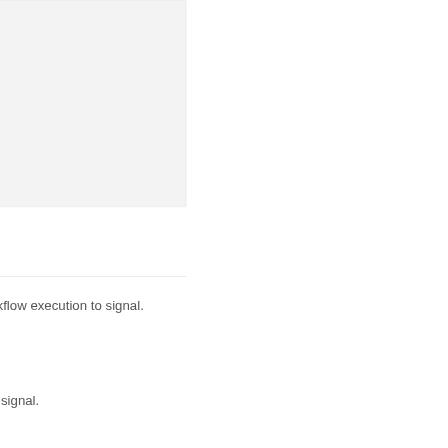[Figure (screenshot): Code block with gray background showing YAML content ending with 'yaml]' and a cursor line, partial view of code snippet]
workflow execution to signal.
n to signal.